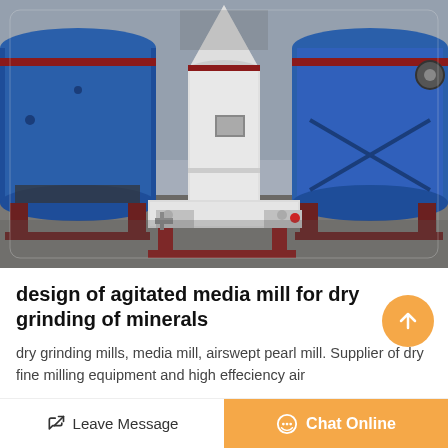[Figure (photo): Industrial grinding mill machines in a factory setting. Large blue cylindrical drum mills on the left and right, with a white conical agitated media mill in the center. Equipment sits on red metal frames on a concrete floor inside an industrial building.]
design of agitated media mill for dry grinding of minerals
dry grinding mills, media mill, airswept pearl mill. Supplier of dry fine milling equipment and high effeciency air